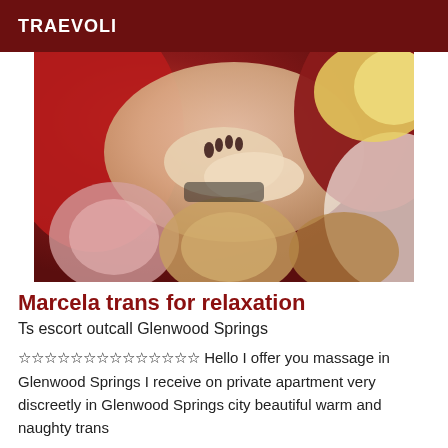TRAEVOLI
[Figure (photo): Woman in red dress lying on a floral patterned bedspread, cropped view showing hands and torso with blonde hair visible]
Marcela trans for relaxation
Ts escort outcall Glenwood Springs
☆☆☆☆☆☆☆☆☆☆☆☆☆☆ Hello I offer you massage in Glenwood Springs I receive on private apartment very discreetly in Glenwood Springs city beautiful warm and naughty trans